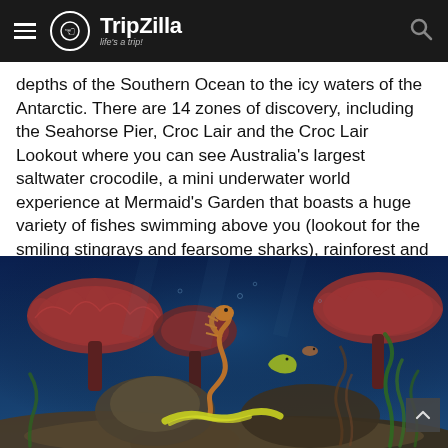TripZilla — life's a trip!
depths of the Southern Ocean to the icy waters of the Antarctic. There are 14 zones of discovery, including the Seahorse Pier, Croc Lair and the Croc Lair Lookout where you can see Australia's largest saltwater crocodile, a mini underwater world experience at Mermaid's Garden that boasts a huge variety of fishes swimming above you (lookout for the smiling stingrays and fearsome sharks), rainforest and coral caves inhabitants, marine creatures of Port Phillip bay as well as the King and Gentoo penguins of Antarctica.
[Figure (photo): Underwater aquarium photo showing seahorses, red coral/anemone mushroom-like creatures, yellow sea creatures and green aquatic plants against a blue background.]